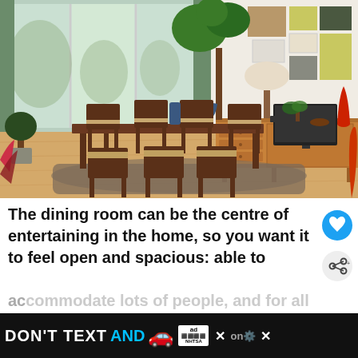[Figure (photo): Mid-century modern dining room with wooden table and chairs, monstera plant in blue vase, green curtains, large windows, wooden sideboard with record player, TV, decorative objects, and colorful geometric wall art panels.]
The dining room can be the centre of entertaining in the home, so you want it to feel open and spacious: able to accommodate lots of people, and for all the pieces so that those gathered can sit comfortably on wheel
[Figure (other): Advertisement banner: DON'T TEXT AND [car emoji] with ad badge and NHTSA logo, with close and share icons]